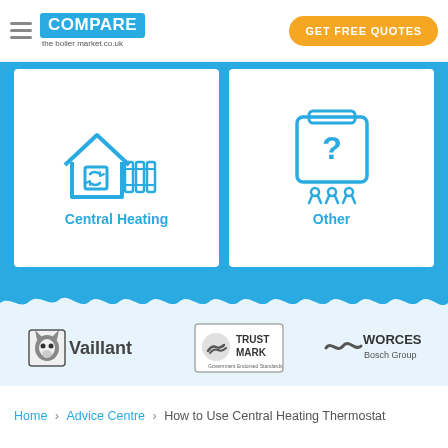COMPARE the boiler market.co.uk | GET FREE QUOTES
[Figure (illustration): Central Heating icon: house outline with boiler/radiator icon in blue]
Central Heating
[Figure (illustration): Other icon: boiler unit with question mark in blue]
Other
[Figure (logo): Vaillant logo in grey]
[Figure (logo): TrustMark - Government Endorsed Standards logo]
[Figure (logo): WORCES Bosch Group logo]
Home > Advice Centre > How to Use Central Heating Thermostat